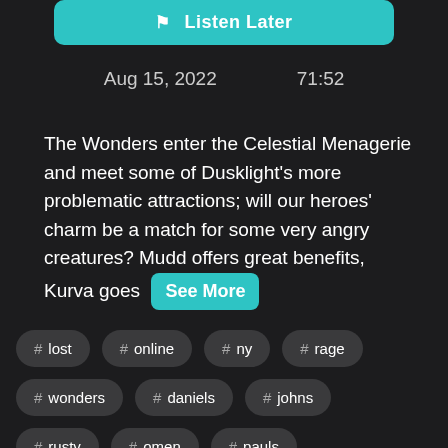[Figure (screenshot): Teal Listen Later button with bookmark icon]
Aug 15, 2022    71:52
The Wonders enter the Celestial Menagerie and meet some of Dusklight's more problematic attractions; will our heroes' charm be a match for some very angry creatures? Mudd offers great benefits, Kurva goes
See More
# lost
# online
# ny
# rage
# wonders
# daniels
# johns
# rusty
# omen
# pauls
# skillshare
# john o
# kristoffer